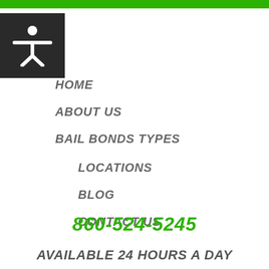[Figure (other): Green horizontal bar at top of page]
[Figure (illustration): Black square with white accessibility/person icon (arms outstretched)]
HOME
ABOUT US
BAIL BONDS TYPES
LOCATIONS
BLOG
CONTACT US
860-524-5245
AVAILABLE 24 HOURS A DAY